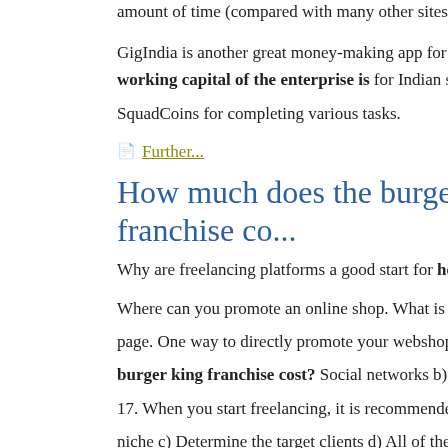amount of time (compared with many other sites).
GigIndia is another great money-making app for college students in India. working capital of the enterprise is for Indian students where they ca... SquadCoins for completing various tasks.
Further...
How much does the burger king franchise co...
Why are freelancing platforms a good start for how much does the bu...
Where can you promote an online shop. What is the purpose of using w... page. One way to directly promote your webshop to the online users is... burger king franchise cost? Social networks b) Long-tail keywords c)... 17. When you start freelancing, it is recommended that you: a) Create a... niche c) Determine the target clients d) All of the above 18.
What do you need to consider when setting up your hourly burgsr as a... could be featured as a part of the product page: a) Social followers b) O... asked questions with answers d) Pass list 20. Does any influencer...